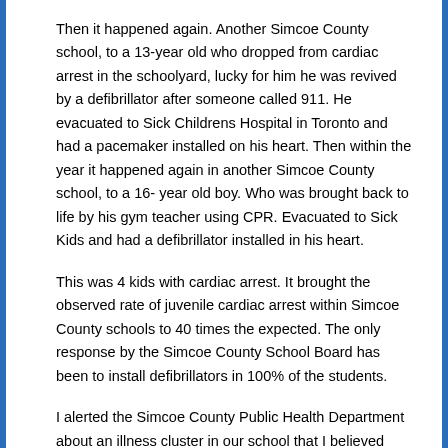Then it happened again. Another Simcoe County school, to a 13-year old who dropped from cardiac arrest in the schoolyard, lucky for him he was revived by a defibrillator after someone called 911. He evacuated to Sick Childrens Hospital in Toronto and had a pacemaker installed on his heart. Then within the year it happened again in another Simcoe County school, to a 16- year old boy. Who was brought back to life by his gym teacher using CPR. Evacuated to Sick Kids and had a defibrillator installed in his heart.
This was 4 kids with cardiac arrest. It brought the observed rate of juvenile cardiac arrest within Simcoe County schools to 40 times the expected. The only response by the Simcoe County School Board has been to install defibrillators in 100% of the students.
I alerted the Simcoe County Public Health Department about an illness cluster in our school that I believed deserved investigation. I was told that according to Safety Code 6 this was IMPOSSIBLE and